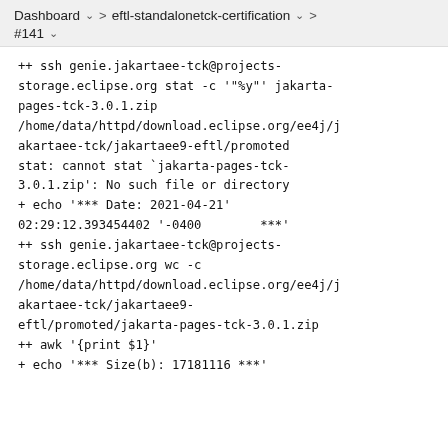Dashboard  >  eftl-standalone-tck-certification  >
#141
++ ssh genie.jakartaee-tck@projects-storage.eclipse.org stat -c '"%y"' jakarta-pages-tck-3.0.1.zip /home/data/httpd/download.eclipse.org/ee4j/jakartaee-tck/jakartaee9-eftl/promoted
stat: cannot stat `jakarta-pages-tck-3.0.1.zip': No such file or directory
+ echo '*** Date: 2021-04-21' 02:29:12.393454402 '-0400        ***'
++ ssh genie.jakartaee-tck@projects-storage.eclipse.org wc -c /home/data/httpd/download.eclipse.org/ee4j/jakartaee-tck/jakartaee9-eftl/promoted/jakarta-pages-tck-3.0.1.zip
++ awk '{print $1}'
+ echo '*** Size(b): 17181116 ***'